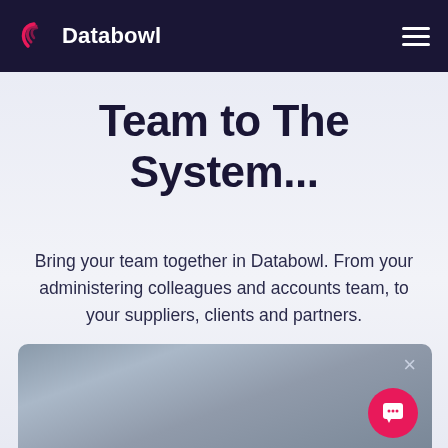Databowl
Team to The System...
Bring your team together in Databowl. From your administering colleagues and accounts team, to your suppliers, clients and partners.
[Figure (screenshot): Screenshot of Databowl application interface with a close (×) button and a pink chat widget button in the bottom right corner]